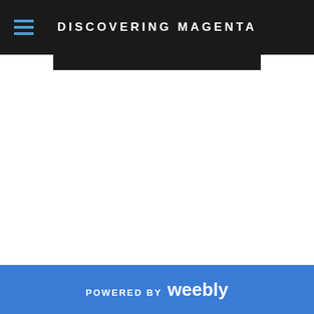DISCOVERING MAGENTA
POWERED BY weebly